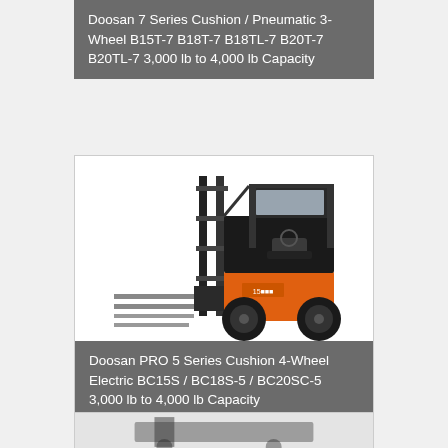Doosan 7 Series Cushion / Pneumatic 3-Wheel B15T-7 B18T-7 B18TL-7 B20T-7 B20TL-7 3,000 lb to 4,000 lb Capacity
[Figure (photo): Doosan PRO 5 Series Cushion 4-Wheel Electric forklift in black and orange, three-quarter front view showing mast, forks, and operator cab]
Doosan PRO 5 Series Cushion 4-Wheel Electric BC15S / BC18S-5 / BC20SC-5 3,000 lb to 4,000 lb Capacity
[Figure (photo): Partial view of another Doosan forklift model at the bottom of the page]